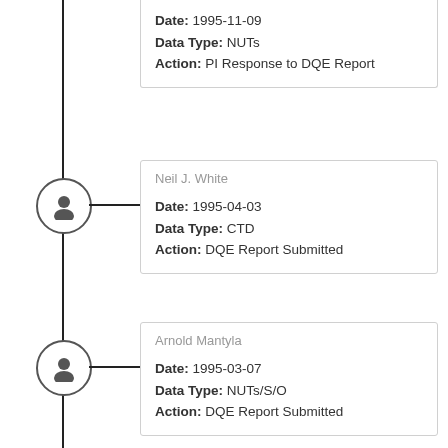Date: 1995-11-09
Data Type: NUTs
Action: PI Response to DQE Report
Neil J. White
Date: 1995-04-03
Data Type: CTD
Action: DQE Report Submitted
Arnold Mantyla
Date: 1995-03-07
Data Type: NUTs/S/O
Action: DQE Report Submitted